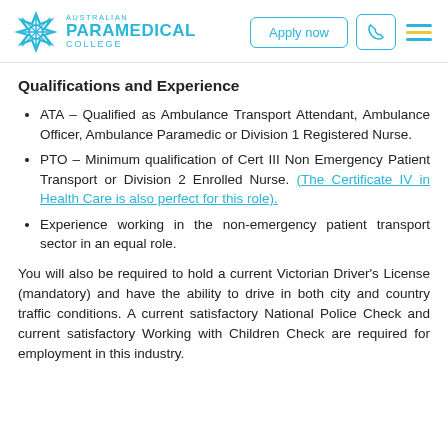[Figure (logo): Australian Paramedical College logo with teal snowflake/star icon and text]
Qualifications and Experience
ATA – Qualified as Ambulance Transport Attendant, Ambulance Officer, Ambulance Paramedic or Division 1 Registered Nurse.
PTO – Minimum qualification of Cert III Non Emergency Patient Transport or Division 2 Enrolled Nurse. (The Certificate IV in Health Care is also perfect for this role).
Experience working in the non-emergency patient transport sector in an equal role.
You will also be required to hold a current Victorian Driver's License (mandatory) and have the ability to drive in both city and country traffic conditions. A current satisfactory National Police Check and current satisfactory Working with Children Check are required for employment in this industry.